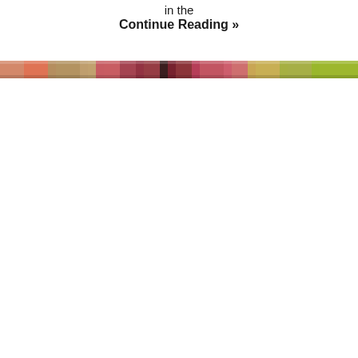in the
Continue Reading »
[Figure (photo): A narrow horizontal strip of colorful flowers/floral imagery, spanning the full width of the page, with warm reds, oranges, and greens visible.]